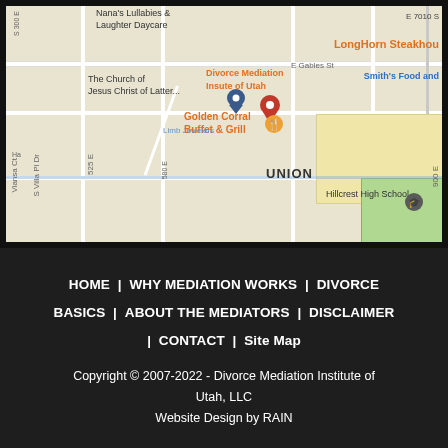[Figure (map): Google Maps screenshot showing the area around Divorce Mediation Institute of Utah, near Golden Corral Buffet & Grill, Smith's Food and Drug, LongHorn Steakhouse, The Church of Jesus Christ of Latter..., Nana's Lullabies & Laughter Daycare, and Hillcrest High School in the UNION area of Utah.]
HOME | WHY MEDIATION WORKS | DIVORCE BASICS | ABOUT THE MEDIATORS | DISCLAIMER | CONTACT | Site Map
Copyright © 2007-2022 - Divorce Mediation Institute of Utah, LLC
Website Design by RAIN